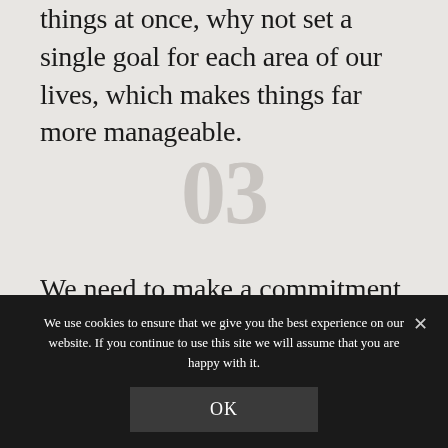things at once, why not set a single goal for each area of our lives, which makes things far more manageable.
03
We need to make a commitment to 1-3 things that we want above all other things. Stretch goals are the best goals – make them just beyond your reach, but not so far
We use cookies to ensure that we give you the best experience on our website. If you continue to use this site we will assume that you are happy with it.
OK